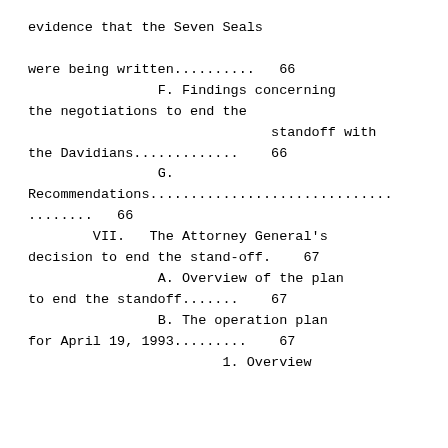evidence that the Seven Seals

were being written..........   66
                F. Findings concerning
the negotiations to end the
                              standoff with
the Davidians.............    66
                G.
Recommendations..............................
........   66
        VII.   The Attorney General's
decision to end the stand-off.    67
                A. Overview of the plan
to end the standoff.......    67
                B. The operation plan
for April 19, 1993.........    67
                        1. Overview